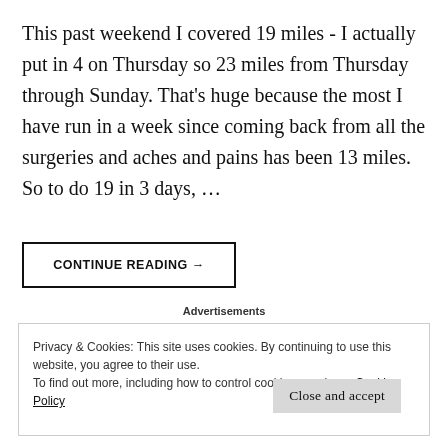This past weekend I covered 19 miles - I actually put in 4 on Thursday so 23 miles from Thursday through Sunday. That's huge because the most I have run in a week since coming back from all the surgeries and aches and pains has been 13 miles. So to do 19 in 3 days, …
CONTINUE READING →
Advertisements
Privacy & Cookies: This site uses cookies. By continuing to use this website, you agree to their use.
To find out more, including how to control cookies, see here: Cookie Policy
Close and accept